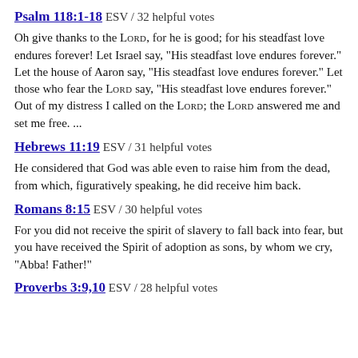Psalm 118:1-18 ESV / 32 helpful votes
Oh give thanks to the LORD, for he is good; for his steadfast love endures forever! Let Israel say, "His steadfast love endures forever." Let the house of Aaron say, "His steadfast love endures forever." Let those who fear the LORD say, "His steadfast love endures forever." Out of my distress I called on the LORD; the LORD answered me and set me free. ...
Hebrews 11:19 ESV / 31 helpful votes
He considered that God was able even to raise him from the dead, from which, figuratively speaking, he did receive him back.
Romans 8:15 ESV / 30 helpful votes
For you did not receive the spirit of slavery to fall back into fear, but you have received the Spirit of adoption as sons, by whom we cry, "Abba! Father!"
Proverbs 3:9,10 ESV / 28 helpful votes